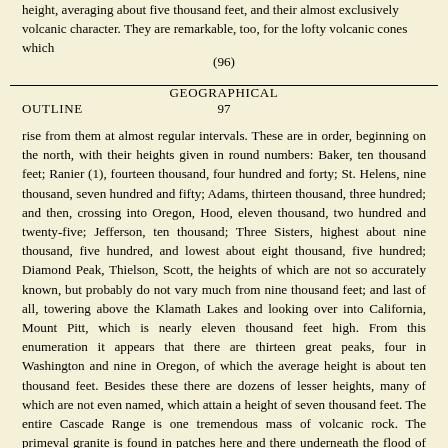height, averaging about five thousand feet, and their almost exclusively volcanic character. They are remarkable, too, for the lofty volcanic cones which
(96)
GEOGRAPHICAL OUTLINE 97
rise from them at almost regular intervals. These are in order, beginning on the north, with their heights given in round numbers: Baker, ten thousand feet; Ranier (1), fourteen thousand, four hundred and forty; St. Helens, nine thousand, seven hundred and fifty; Adams, thirteen thousand, three hundred; and then, crossing into Oregon, Hood, eleven thousand, two hundred and twenty-five; Jefferson, ten thousand; Three Sisters, highest about nine thousand, five hundred, and lowest about eight thousand, five hundred; Diamond Peak, Thielson, Scott, the heights of which are not so accurately known, but probably do not vary much from nine thousand feet; and last of all, towering above the Klamath Lakes and looking over into California, Mount Pitt, which is nearly eleven thousand feet high. From this enumeration it appears that there are thirteen great peaks, four in Washington and nine in Oregon, of which the average height is about ten thousand feet. Besides these there are dozens of lesser heights, many of which are not even named, which attain a height of seven thousand feet. The entire Cascade Range is one tremendous mass of volcanic rock. The primeval granite is found in patches here and there underneath the flood of lava. The great peaks are in only a dormant state of volcanic energy, and show by their uneasy heaving from time to time the presence of the earth-giant chained beneath. Hood, St. Helens and Ranier, in particular, have had outbursts frequently since the settlement of the country. In 1835 and 1842, St. Helens had tremendous explosions. A river of stiffened lava,